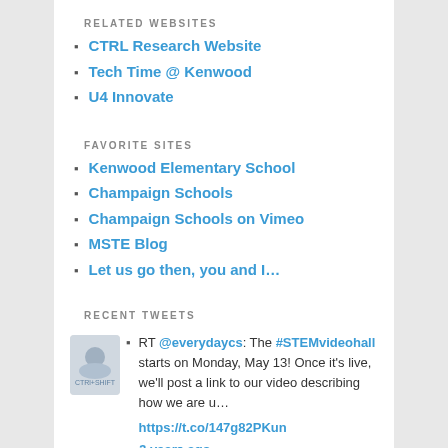RELATED WEBSITES
CTRL Research Website
Tech Time @ Kenwood
U4 Innovate
FAVORITE SITES
Kenwood Elementary School
Champaign Schools
Champaign Schools on Vimeo
MSTE Blog
Let us go then, you and I…
RECENT TWEETS
RT @everydaycs: The #STEMvideohall starts on Monday, May 13! Once it's live, we'll post a link to our video describing how we are u… https://t.co/147g82PKun 3 years ago